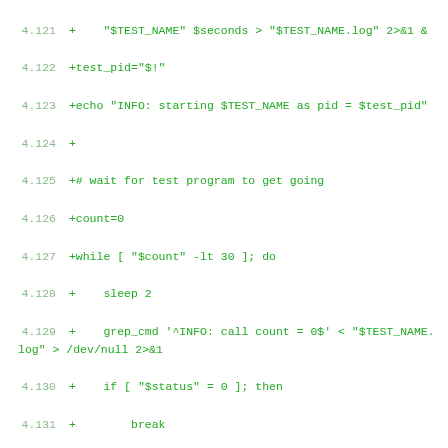4.121 +    "$TEST_NAME" $seconds > "$TEST_NAME.log" 2>&1 &
4.122 +test_pid="$!"
4.123 +echo "INFO: starting $TEST_NAME as pid = $test_pid"
4.124 +
4.125 +# wait for test program to get going
4.126 +count=0
4.127 +while [ "$count" -lt 30 ]; do
4.128 +    sleep 2
4.129 +    grep_cmd '^INFO: call count = 0$' < "$TEST_NAME.log" > /dev/null 2>&1
4.130 +    if [ "$status" = 0 ]; then
4.131 +        break
4.132 +    fi
4.133 +    count=`expr $count + 1`
4.134 +done
4.135 +
4.136 +if [ "$count" -ge 30 ]; then
4.137 +    echo "ERROR: $TEST_NAME failed to get going." >&2
4.138 +    echo "INFO: killing $test_pid"
4.139 +    kill "$test_pid"
4.140 +    exit 1
4.141 +elif [ "$count" -gt 1 ]; then
4.142 +    echo "INFO: $TEST_NAME took $count loops to start."